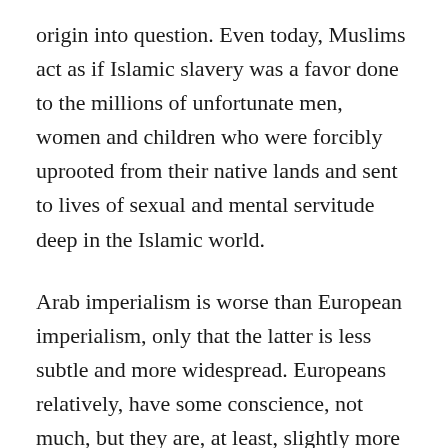origin into question. Even today, Muslims act as if Islamic slavery was a favor done to the millions of unfortunate men, women and children who were forcibly uprooted from their native lands and sent to lives of sexual and mental servitude deep in the Islamic world.
Arab imperialism is worse than European imperialism, only that the latter is less subtle and more widespread. Europeans relatively, have some conscience, not much, but they are, at least, slightly more tolerant of dissent than the Arabs. Europeans did not completely destroy African cultures. Our history and religions yes, while our cultures and traditions were largely derided as primitive and banned, ignored or marginalized. In all areas conquered by Islam, the natives lost their ethnic names,